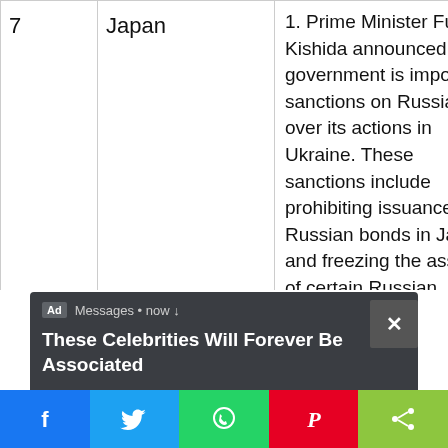|  | Country | Details |
| --- | --- | --- |
| 7 | Japan | 1. Prime Minister Fumio Kishida announced his government is imposing sanctions on Russia over its actions in Ukraine. These sanctions include prohibiting issuance of Russian bonds in Japan and freezing the assets of certain Russian |
[Figure (screenshot): Advertisement overlay with dark background. Shows 'Ad Messages • now' header with close button (X). Text reads: 'These Celebrities Will Forever Be Associated' with a reply/redirect button.]
[Figure (infographic): Social sharing bar at bottom with five colored buttons: Facebook (blue, f icon), Twitter (light blue, bird icon), WhatsApp (green, phone icon), Pinterest (red, P icon), Share (yellow-green, share icon).]